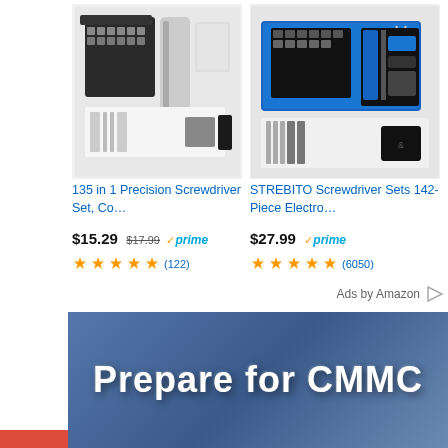[Figure (screenshot): Amazon product ad: 135 in 1 Precision Screwdriver Set tool kit photo]
135 in 1 Precision Screwdriver Set, Co…
$15.29 $17.99 ✓prime ★★★★★ (122)
[Figure (screenshot): Amazon product ad: STREBITO Screwdriver Sets 142-Piece electronic toolkit photo]
STREBITO Screwdriver Sets 142-Piece Electro…
$27.99 ✓prime ★★★★★ (6050)
Ads by Amazon ▷
[Figure (infographic): Blue banner with bold white text reading 'Prepare for CMMC']
[Figure (logo): Google+ social share button - red square with g+ icon]
[Figure (logo): Facebook social share button - dark blue square with f icon]
[Figure (logo): LinkedIn social share button - blue square with 'in' icon]
[Figure (logo): Twitter social share button - light blue square with bird icon]
[Figure (logo): Google social share button - dark square with person icon]
[Figure (logo): StumbleUpon social share button - orange square with su icon]